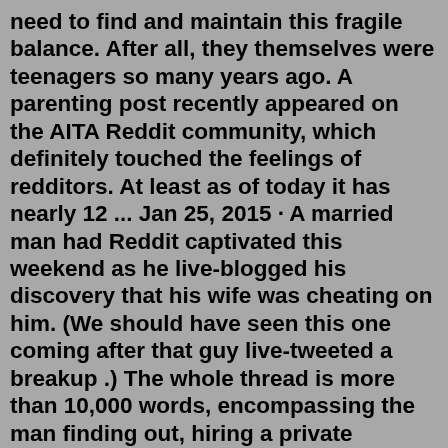need to find and maintain this fragile balance. After all, they themselves were teenagers so many years ago. A parenting post recently appeared on the AITA Reddit community, which definitely touched the feelings of redditors. At least as of today it has nearly 12 ... Jan 25, 2015 · A married man had Reddit captivated this weekend as he live-blogged his discovery that his wife was cheating on him. (We should have seen this one coming after that guy live-tweeted a breakup .) The whole thread is more than 10,000 words, encompassing the man finding out, hiring a private investigator to tail his wife, and his realization that ... Oct 21, 2015 · What terrifies me, however, is the thought of conceiving a daughter. A mini me, someone who's going to go through heartbreak and pressure, constantly trampled by the sexualizing of female bodies, and the concept that you have to look flawless to be noticed. 2 months ago I just want to have a daughter and a son Discussion And I'd like spoil the daughter so much and make her think she's the best person in the whole world. But f...